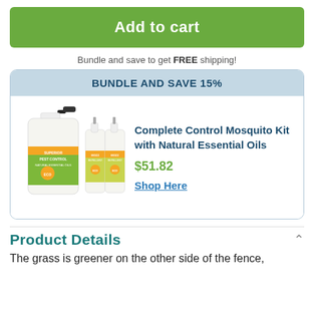Add to cart
Bundle and save to get FREE shipping!
BUNDLE AND SAVE 15%
[Figure (photo): Product photo of Complete Control Mosquito Kit with Natural Essential Oils: one large spray bottle and two small spray bottles with green and orange labels]
Complete Control Mosquito Kit with Natural Essential Oils
$51.82
Shop Here
Product Details
The grass is greener on the other side of the fence,